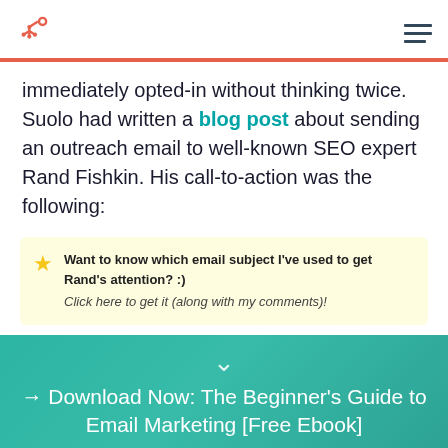HubSpot logo and navigation
immediately opted-in without thinking twice. Suolo had written a blog post about sending an outreach email to well-known SEO expert Rand Fishkin. His call-to-action was the following:
Want to know which email subject I've used to get Rand's attention? :) Click here to get it (along with my comments)!
→ Download Now: The Beginner's Guide to Email Marketing [Free Ebook]
Get it now